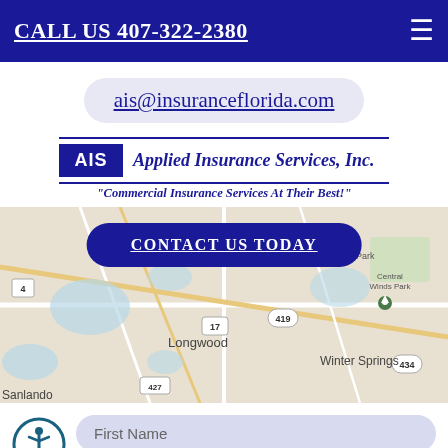CALL US 407-322-2380
ais@insuranceflorida.com
[Figure (logo): Applied Insurance Services, Inc. logo with AIS badge and tagline 'Commercial Insurance Services At Their Best!']
CONTACT US TODAY
[Figure (map): Google Maps view showing Longwood, Winter Springs, Sanlando area in Florida]
First Name
Last Name